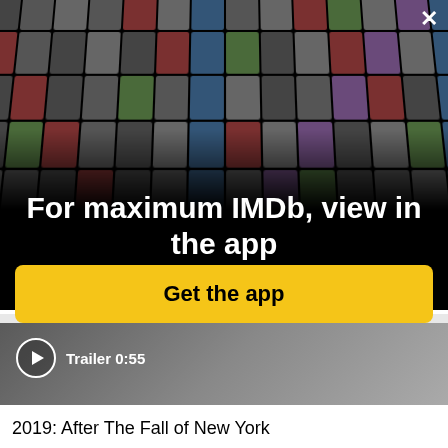[Figure (screenshot): IMDb app promotion overlay showing a collage of movie posters and celebrity photos arranged in a perspective grid on a black background, with a close (X) button in the top right corner.]
For maximum IMDb, view in the app
Get the app
[Figure (screenshot): Video thumbnail showing a blurred scene with a play button circle and text 'Trailer 0:55']
Trailer 0:55
2019: After The Fall of New York